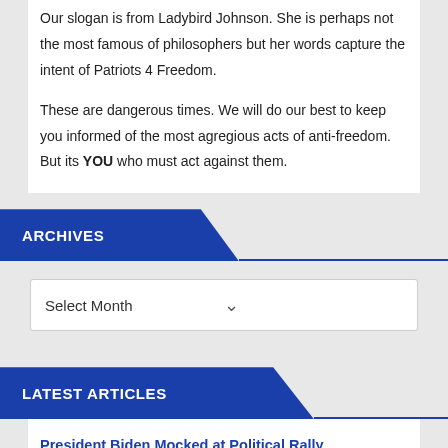Our slogan is from Ladybird Johnson. She is perhaps not the most famous of philosophers but her words capture the intent of Patriots 4 Freedom.
These are dangerous times. We will do our best to keep you informed of the most agregious acts of anti-freedom. But its YOU who must act against them.
ARCHIVES
Select Month
LATEST ARTICLES
President Biden Mocked at Political Rally